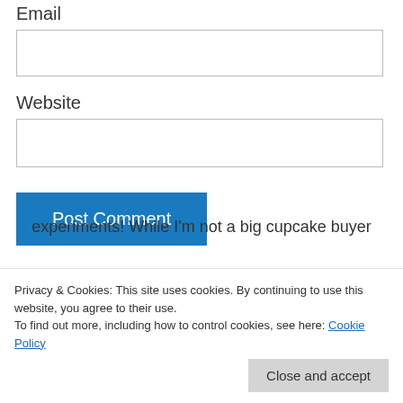Email
Website
Post Comment
Notify me of new comments via email.
Notify me of new posts via email.
Privacy & Cookies: This site uses cookies. By continuing to use this website, you agree to their use. To find out more, including how to control cookies, see here: Cookie Policy
Close and accept
experiments! While I'm not a big cupcake buyer